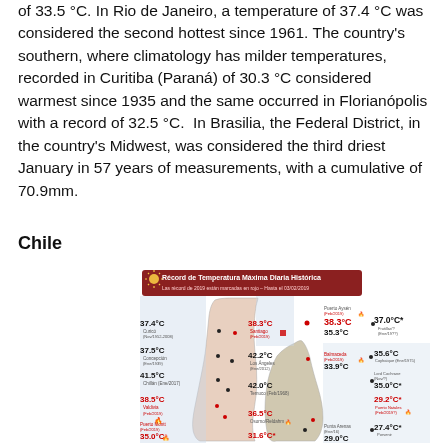of 33.5 °C. In Rio de Janeiro, a temperature of 37.4 °C was considered the second hottest since 1961. The country's southern, where climatology has milder temperatures, recorded in Curitiba (Paraná) of 30.3 °C considered warmest since 1935 and the same occurred in Florianópolis with a record of 32.5 °C. In Brasilia, the Federal District, in the country's Midwest, was considered the third driest January in 57 years of measurements, with a cumulative of 70.9mm.
Chile
[Figure (map): Map of Chile showing Récord de Temperatura Máxima Diaria Histórica (Historical Daily Maximum Temperature Record). Title in red box: 'Récord de Temperatura Máxima Diaria Histórica'. Subtitle: 'Las récord de 2019 están marcadas en rojo – Hasta el 03/02/2019'. Shows various temperature records at Chilean cities including Santiago 38.3°C (red), Los Angeles 42.2°C, Temuco 42.0°C, Curicó 37.4°C, Concepción 37.5°C, Chillán 41.5°C, Valdivia 38.5°C (red), Puerto Montt 35.0°C (red), Osorno/Reldahm 36.5°C, Puerto Aysén 38.3°C (red)/35.3°C, Balmaceda 33.9°C, Coyhaique 35.6°C, Lord Cochrane 35.0°C*, Puerto Natales 29.2°C* (red), Punta Arenas 29.0°C, Porvenir 27.4°C*, Frutillar/? 37.0°C*, and 31.6°C*.]